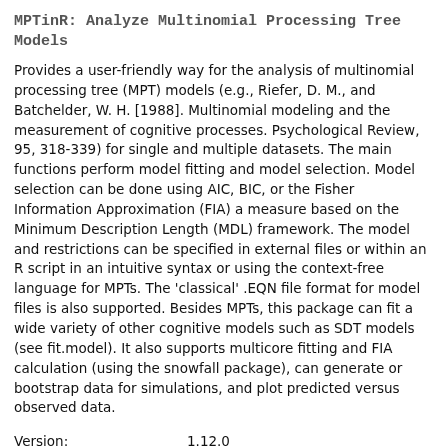MPTinR: Analyze Multinomial Processing Tree Models
Provides a user-friendly way for the analysis of multinomial processing tree (MPT) models (e.g., Riefer, D. M., and Batchelder, W. H. [1988]. Multinomial modeling and the measurement of cognitive processes. Psychological Review, 95, 318-339) for single and multiple datasets. The main functions perform model fitting and model selection. Model selection can be done using AIC, BIC, or the Fisher Information Approximation (FIA) a measure based on the Minimum Description Length (MDL) framework. The model and restrictions can be specified in external files or within an R script in an intuitive syntax or using the context-free language for MPTs. The 'classical' .EQN file format for model files is also supported. Besides MPTs, this package can fit a wide variety of other cognitive models such as SDT models (see fit.model). It also supports multicore fitting and FIA calculation (using the snowfall package), can generate or bootstrap data for simulations, and plot predicted versus observed data.
| Field | Value |
| --- | --- |
| Version: | 1.12.0 |
| Depends: | R (≥ 2.15.1) |
| Imports: | numDeriv, Brobdingnag, Rcpp, stats, utils |
| LinkingTo: | Rcpp, RcppEigen |